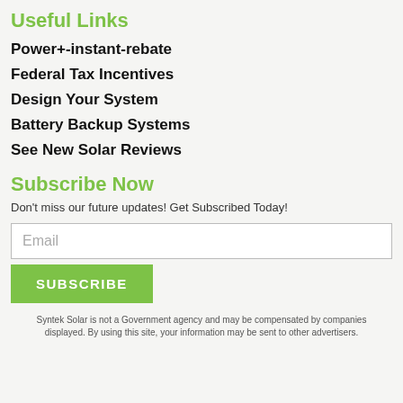Useful Links
Power+-instant-rebate
Federal Tax Incentives
Design Your System
Battery Backup Systems
See New Solar Reviews
Subscribe Now
Don't miss our future updates! Get Subscribed Today!
Email
SUBSCRIBE
Syntek Solar is not a Government agency and may be compensated by companies displayed. By using this site, your information may be sent to other advertisers.